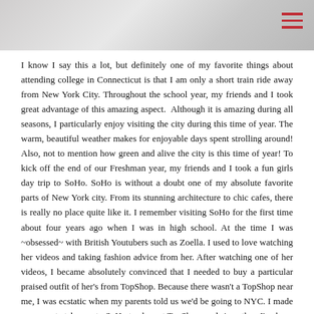[Figure (photo): Header image with a light grey/white mountain or cloud texture background and a hamburger menu icon (three horizontal red lines) in the top right corner.]
I know I say this a lot, but definitely one of my favorite things about attending college in Connecticut is that I am only a short train ride away from New York City. Throughout the school year, my friends and I took great advantage of this amazing aspect.  Although it is amazing during all seasons, I particularly enjoy visiting the city during this time of year. The warm, beautiful weather makes for enjoyable days spent strolling around! Also, not to mention how green and alive the city is this time of year! To kick off the end of our Freshman year, my friends and I took a fun girls day trip to SoHo. SoHo is without a doubt one of my absolute favorite parts of New York city. From its stunning architecture to chic cafes, there is really no place quite like it. I remember visiting SoHo for the first time about four years ago when I was in high school. At the time I was ~obsessed~ with British Youtubers such as Zoella. I used to love watching her videos and taking fashion advice from her. After watching one of her videos, I became absolutely convinced that I needed to buy a particular praised outfit of her's from TopShop. Because there wasn't a TopShop near me, I was ecstatic when my parents told us we'd be going to NYC. I made my parents take my to SoHo to shop at TopShop, and since then I've been in love with the charm and beauty of the neighborhood!
While in SoHo this particular time, my friends and I decided to hit up Two